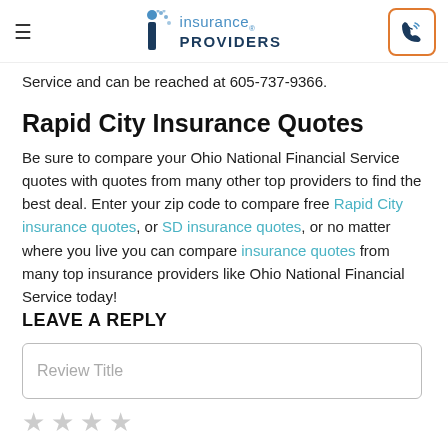Insurance Providers logo and phone button
Service and can be reached at 605-737-9366.
Rapid City Insurance Quotes
Be sure to compare your Ohio National Financial Service quotes with quotes from many other top providers to find the best deal. Enter your zip code to compare free Rapid City insurance quotes, or SD insurance quotes, or no matter where you live you can compare insurance quotes from many top insurance providers like Ohio National Financial Service today!
LEAVE A REPLY
Review Title (input placeholder)
★★★★★ (star rating, empty)